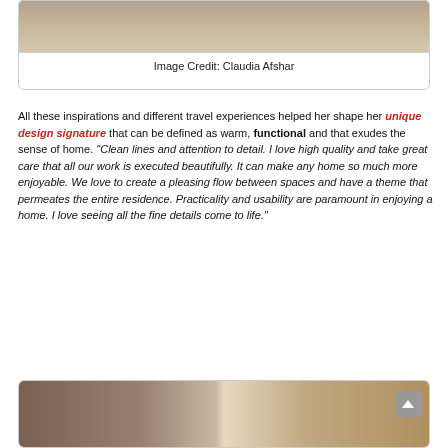[Figure (photo): Partial view of a room interior with light wood flooring, cropped at top of page]
Image Credit: Claudia Afshar
All these inspirations and different travel experiences helped her shape her unique design signature that can be defined as warm, functional and that exudes the sense of home. "Clean lines and attention to detail. I love high quality and take great care that all our work is executed beautifully. It can make any home so much more enjoyable. We love to create a pleasing flow between spaces and have a theme that permeates the entire residence. Practicality and usability are paramount in enjoying a home. I love seeing all the fine details come to life."
[Figure (photo): Interior design room scene with furniture, partially visible at bottom of page]